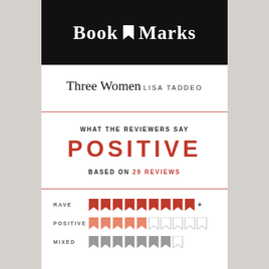Book Marks
Three Women
LISA TADDEO
WHAT THE REVIEWERS SAY
POSITIVE
BASED ON 29 REVIEWS
[Figure (infographic): Rating breakdown with bookmark flag icons: RAVE = 9+ filled red flags, POSITIVE = 5 filled salmon/light red flags + 5 empty flags, MIXED = 7 filled gray flags + 1 empty flag]
RAVE
POSITIVE
MIXED